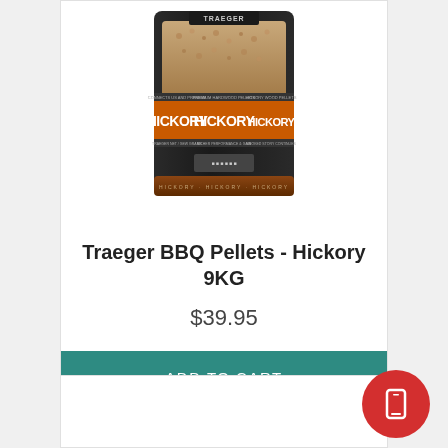[Figure (photo): Traeger Hickory BBQ pellets bag, dark packaging with orange HICKORY text, bag of wood pellets visible]
Traeger BBQ Pellets - Hickory 9KG
$39.95
ADD TO CART